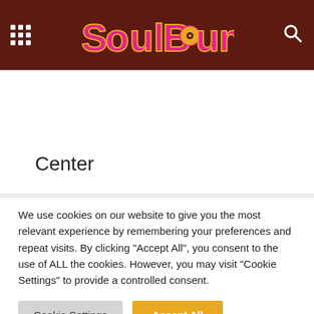SoulBounce
Center
· Advertisement ·
We use cookies on our website to give you the most relevant experience by remembering your preferences and repeat visits. By clicking "Accept All", you consent to the use of ALL the cookies. However, you may visit "Cookie Settings" to provide a controlled consent.